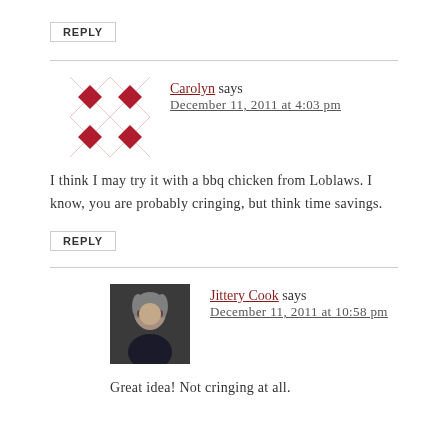REPLY
Carolyn says
December 11, 2011 at 4:03 pm
I think I may try it with a bbq chicken from Loblaws. I know, you are probably cringing, but think time savings.
REPLY
Jittery Cook says
December 11, 2011 at 10:58 pm
Great idea! Not cringing at all.